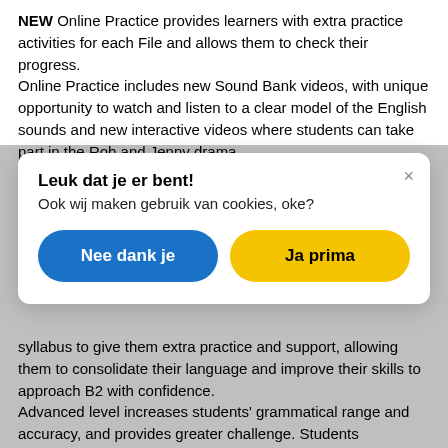NEW Online Practice provides learners with extra practice activities for each File and allows them to check their progress.
Online Practice includes new Sound Bank videos, with unique opportunity to watch and listen to a clear model of the English sounds and new interactive videos where students can take part in the Rob and Jenny drama
[Figure (screenshot): Cookie consent modal dialog with title 'Leuk dat je er bent!' and text 'Ook wij maken gebruik van cookies, oke?' with two buttons: 'Nee dank je' (blue) and 'Ja prima' (yellow)]
syllabus to give them extra practice and support, allowing them to consolidate their language and improve their skills to approach B2 with confidence.
Advanced level increases students' grammatical range and accuracy, and provides greater challenge. Students consolidate their confidence with a proven balance of Grammar, Vocabulary, Pronunciation and Skills Development in every File.
Advanced Plus is for higher-level students who want to push the boundaries of their English learning. Advanced